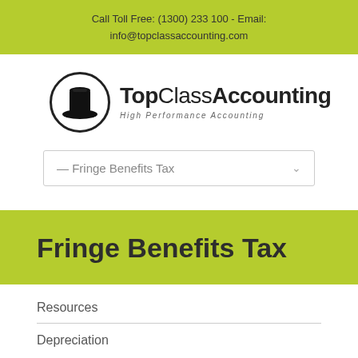Call Toll Free: (1300) 233 100 - Email: info@topclassaccounting.com
[Figure (logo): TopClassAccounting logo with top hat in circle and text 'TopClass Accounting - High Performance Accounting']
— Fringe Benefits Tax
Fringe Benefits Tax
Resources
Depreciation